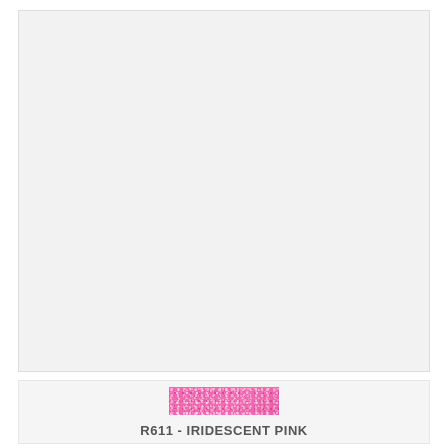[Figure (photo): Large light gray panel, mostly blank/empty product display area]
[Figure (photo): Color swatch sample showing iridescent glittery pink color labeled R611 - IRIDESCENT PINK]
R611 - IRIDESCENT PINK